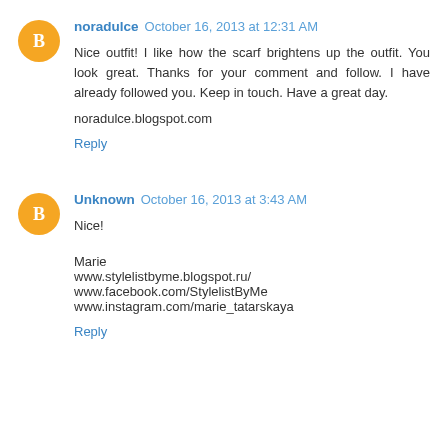noradulce  October 16, 2013 at 12:31 AM
Nice outfit! I like how the scarf brightens up the outfit. You look great. Thanks for your comment and follow. I have already followed you. Keep in touch. Have a great day.
noradulce.blogspot.com
Reply
Unknown  October 16, 2013 at 3:43 AM
Nice!
Marie
www.stylelistbyme.blogspot.ru/
www.facebook.com/StylelistByMe
www.instagram.com/marie_tatarskaya
Reply